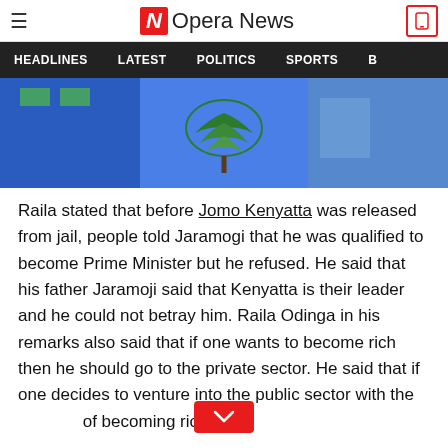Opera News
[Figure (screenshot): Opera News website navigation bar showing HEADLINES, LATEST, POLITICS, SPORTS categories on dark background]
[Figure (photo): Photo showing flags or banners with a cedar tree (Lebanon flag) visible in the center, blue background]
Raila stated that before Jomo Kenyatta was released from jail, people told Jaramogi that he was qualified to become Prime Minister but he refused. He said that his father Jaramoji said that Kenyatta is their leader and he could not betray him. Raila Odinga in his remarks also said that if one wants to become rich then he should go to the private sector. He said that if one decides to venture into the public sector with the of becoming rich then